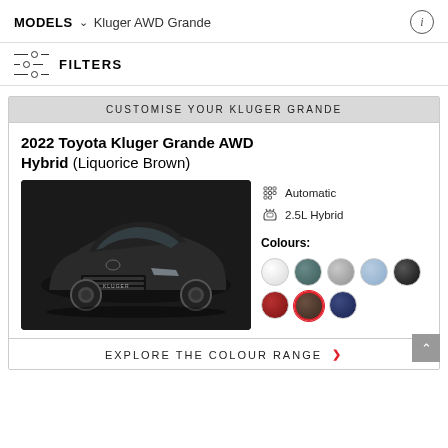MODELS ∨  Kluger AWD Grande
FILTERS
CUSTOMISE YOUR KLUGER GRANDE
2022 Toyota Kluger Grande AWD Hybrid (Liquorice Brown)
[Figure (photo): Dark/black 2022 Toyota Kluger Grande AWD Hybrid SUV shown in 3/4 front view against white background]
Automatic
2.5L Hybrid
Colours:
EXPLORE THE COLOUR RANGE >